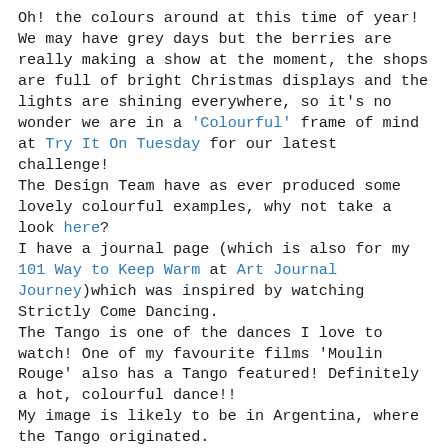Oh! the colours around at this time of year! We may have grey days but the berries are really making a show at the moment, the shops are full of bright Christmas displays and the lights are shining everywhere, so it's no wonder we are in a 'Colourful' frame of mind at Try It On Tuesday for our latest challenge!
The Design Team have as ever produced some lovely colourful examples, why not take a look here?
I have a journal page (which is also for my 101 Way to Keep Warm at Art Journal Journey)which was inspired by watching Strictly Come Dancing.
The Tango is one of the dances I love to watch! One of my favourite films 'Moulin Rouge' also has a Tango featured! Definitely a hot, colourful dance!!
My image is likely to be in Argentina, where the Tango originated.